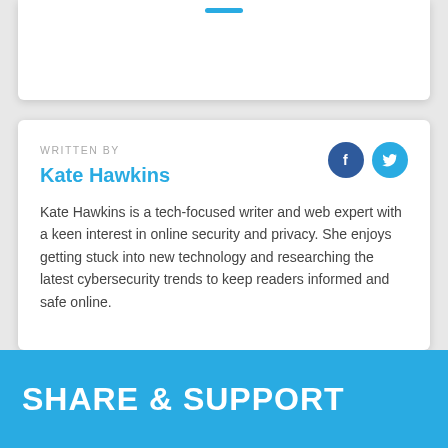WRITTEN BY
Kate Hawkins
Kate Hawkins is a tech-focused writer and web expert with a keen interest in online security and privacy. She enjoys getting stuck into new technology and researching the latest cybersecurity trends to keep readers informed and safe online.
SHARE & SUPPORT